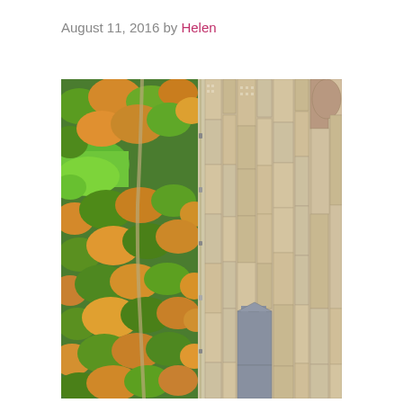August 11, 2016 by Helen
[Figure (photo): Aerial photograph split vertically down the middle: left half shows Central Park with dense autumn foliage in green, orange, and yellow, with winding paths and a green lawn (the Sheep Meadow); right half shows the dense Manhattan cityscape of tall buildings and skyscrapers viewed from above, separated by a long straight avenue running through the center.]